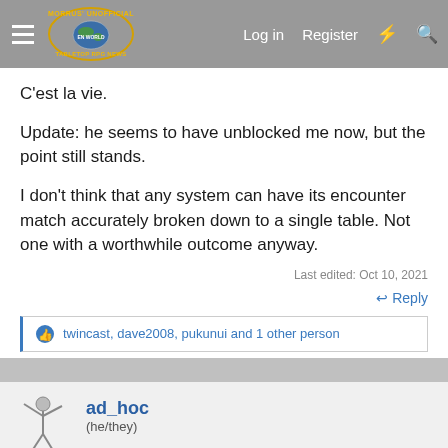Morrus' Unofficial Tabletop RPG News | Log in | Register
C'est la vie.
Update: he seems to have unblocked me now, but the point still stands.
I don't think that any system can have its encounter match accurately broken down to a single table. Not one with a worthwhile outcome anyway.
Last edited: Oct 10, 2021
↩ Reply
twincast, dave2008, pukunui and 1 other person
ad_hoc
(he/they)